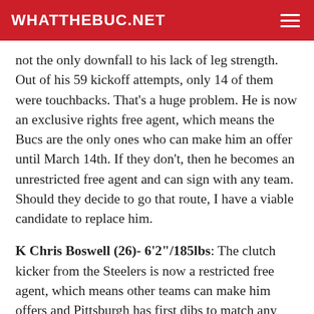WHATTHEBUC.NET
not the only downfall to his lack of leg strength. Out of his 59 kickoff attempts, only 14 of them were touchbacks. That's a huge problem. He is now an exclusive rights free agent, which means the Bucs are the only ones who can make him an offer until March 14th. If they don't, then he becomes an unrestricted free agent and can sign with any team. Should they decide to go that route, I have a viable candidate to replace him.
K Chris Boswell (26)- 6'2"/185lbs: The clutch kicker from the Steelers is now a restricted free agent, which means other teams can make him offers and Pittsburgh has first dibs to match any offers that come in. Should they decide not to